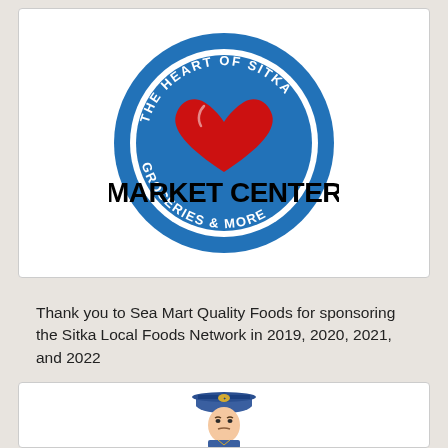[Figure (logo): The Heart of Sitka Market Center – Groceries & More logo: a blue circular badge with a large red heart in the center and bold black text 'MARKET CENTER' across the middle.]
Thank you to Sea Mart Quality Foods for sponsoring the Sitka Local Foods Network in 2019, 2020, 2021, and 2022
[Figure (illustration): Illustrated cartoon mascot figure wearing a blue military/captain-style hat and uniform, shown from the chest up.]